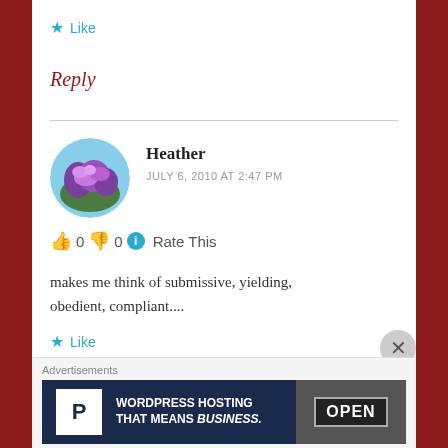★ Like
Reply
Heather
JULY 6, 2010 AT 2:47 PM
👍 0 👎 0 ℹ Rate This
makes me think of submissive, yielding, obedient, compliant....
★ Like
Advertisements
[Figure (screenshot): WordPress Hosting That Means Business advertisement banner with P logo and OPEN sign photo]